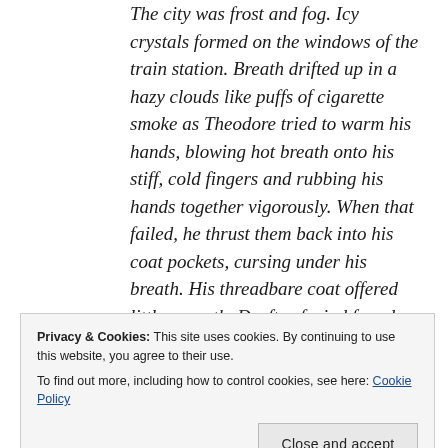The city was frost and fog. Icy crystals formed on the windows of the train station. Breath drifted up in a hazy clouds like puffs of cigarette smoke as Theodore tried to warm his hands, blowing hot breath onto his stiff, cold fingers and rubbing his hands together vigorously. When that failed, he thrust them back into his coat pockets, cursing under his breath. His threadbare coat offered little warmth. Drafts of wind found
station walls. A discarded page of
Privacy & Cookies: This site uses cookies. By continuing to use this website, you agree to their use. To find out more, including how to control cookies, see here: Cookie Policy